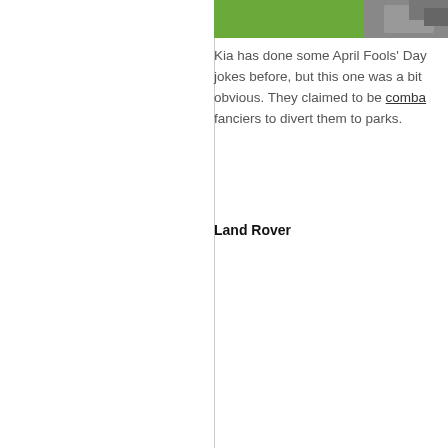[Figure (photo): Partial view of a green and rocky outdoor scene, cropped at the top of the right panel]
Kia has done some April Fools' Day jokes before, but this one was a bit obvious. They claimed to be comba fanciers to divert them to parks.
Land Rover